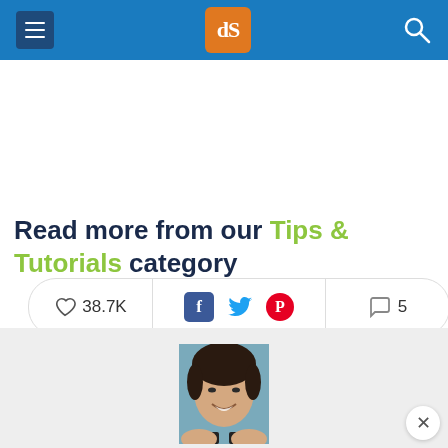dPS navigation header with menu, logo, and search
[Figure (infographic): Social engagement bar showing 38.7K likes, Facebook/Twitter/Pinterest share buttons, and 5 comments]
Read more from our Tips & Tutorials category
[Figure (photo): Smiling Asian woman outdoors, partial view, for a Tips & Tutorials article card]